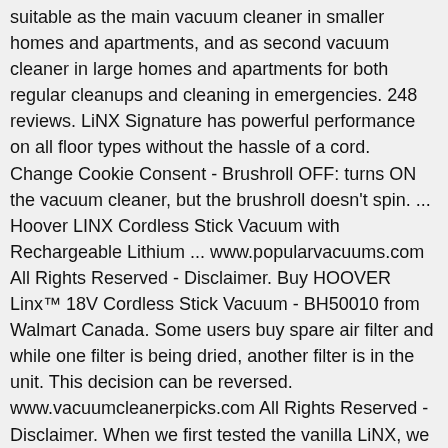suitable as the main vacuum cleaner in smaller homes and apartments, and as second vacuum cleaner in large homes and apartments for both regular cleanups and cleaning in emergencies. 248 reviews. LiNX Signature has powerful performance on all floor types without the hassle of a cord. Change Cookie Consent - Brushroll OFF: turns ON the vacuum cleaner, but the brushroll doesn't spin. ... Hoover LINX Cordless Stick Vacuum with Rechargeable Lithium ... www.popularvacuums.com All Rights Reserved - Disclaimer. Buy HOOVER Linx™ 18V Cordless Stick Vacuum - BH50010 from Walmart Canada. Some users buy spare air filter and while one filter is being dried, another filter is in the unit. This decision can be reversed. www.vacuumcleanerpicks.com All Rights Reserved - Disclaimer. When we first tested the vanilla LiNX, we were disappointed by its weak dirt pickup and hefty body. LiNX BH50005 vacuum cleaner pdf manual download. By using our website, you agree that we can place these types of cookies on your device. Hoover BH50020 Linx is closely based on the very